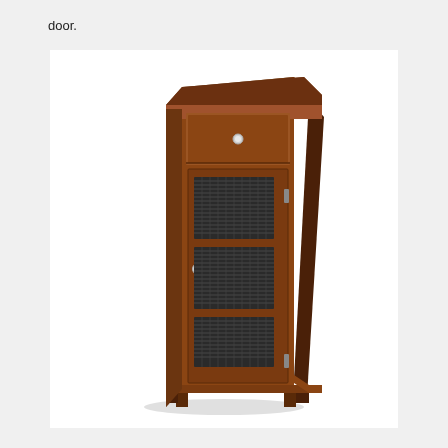door.
[Figure (photo): A tall wooden storage cabinet with a warm brown finish. It features a single drawer at the top with a round metal knob, and a single door below with three woven/wire mesh panel inserts and a round metal knob handle. The cabinet stands on four short legs and has a slightly wider cornice top.]